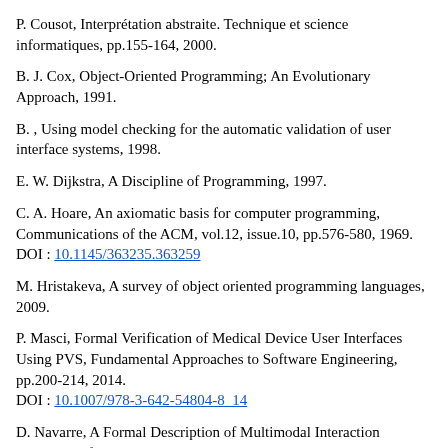P. Cousot, Interprétation abstraite. Technique et science informatiques, pp.155-164, 2000.
B. J. Cox, Object-Oriented Programming; An Evolutionary Approach, 1991.
B. , Using model checking for the automatic validation of user interface systems, 1998.
E. W. Dijkstra, A Discipline of Programming, 1997.
C. A. Hoare, An axiomatic basis for computer programming, Communications of the ACM, vol.12, issue.10, pp.576-580, 1969. DOI : 10.1145/363235.363259
M. Hristakeva, A survey of object oriented programming languages, 2009.
P. Masci, Formal Verification of Medical Device User Interfaces Using PVS, Fundamental Approaches to Software Engineering, pp.200-214, 2014. DOI : 10.1007/978-3-642-54804-8_14
D. Navarre, A Formal Description of Multimodal Interaction Techniques for Immersive Virtual Reality Applications, Proceedings of the ...